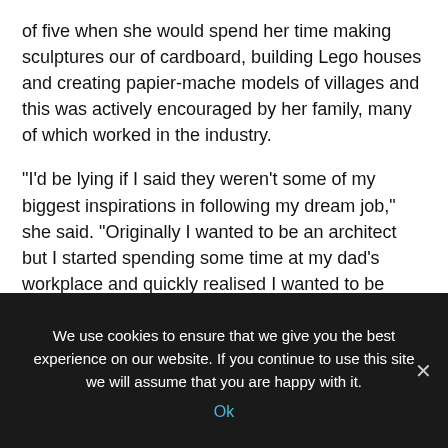of five when she would spend her time making sculptures our of cardboard, building Lego houses and creating papier-mache models of villages and this was actively encouraged by her family, many of which worked in the industry.
“I’d be lying if I said they weren’t some of my biggest inspirations in following my dream job,” she said. “Originally I wanted to be an architect but I started spending some time at my dad’s workplace and quickly realised I wanted to be more site-based than office-based.”
[partial line cut off at bottom]
We use cookies to ensure that we give you the best experience on our website. If you continue to use this site we will assume that you are happy with it.
Ok